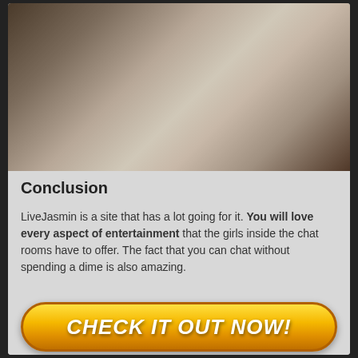[Figure (photo): Woman in lingerie lying on a bed, promotional image for LiveJasmin website]
Conclusion
LiveJasmin is a site that has a lot going for it. You will love every aspect of entertainment that the girls inside the chat rooms have to offer. The fact that you can chat without spending a dime is also amazing.
CHECK IT OUT NOW!